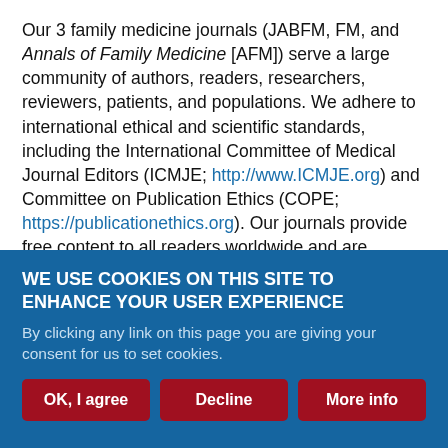Our 3 family medicine journals (JABFM, FM, and Annals of Family Medicine [AFM]) serve a large community of authors, readers, researchers, reviewers, patients, and populations. We adhere to international ethical and scientific standards, including the International Committee of Medical Journal Editors (ICMJE; http://www.ICMJE.org) and Committee on Publication Ethics (COPE; https://publicationethics.org). Our journals provide free content to all readers worldwide and are indexed in MEDLINE for recognition and immediate retrieval. We charge no submission, processing, or publication fees to authors. (See Table 1.) We do all this through the sustained generous support of our professional organizations dedicated to family medicine (in progress...
WE USE COOKIES ON THIS SITE TO ENHANCE YOUR USER EXPERIENCE
By clicking any link on this page you are giving your consent for us to set cookies.